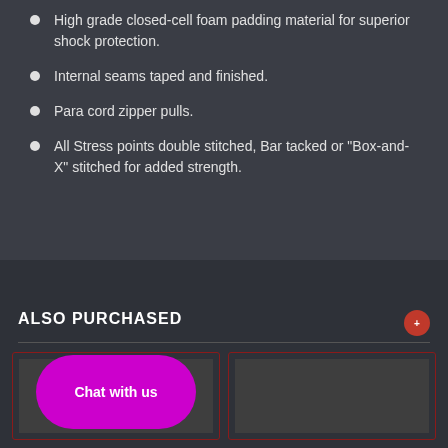High grade closed-cell foam padding material for superior shock protection.
Internal seams taped and finished.
Para cord zipper pulls.
All Stress points double stitched, Bar tacked or "Box-and-X" stitched for added strength.
ALSO PURCHASED
[Figure (screenshot): Two product card thumbnails at the bottom of the page, partially visible, inside red-bordered boxes. A back-to-top arrow button visible on the right. A magenta chat bubble overlay with text 'Chat with us'.]